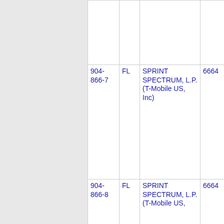| Phone | State | Company | Num | City |
| --- | --- | --- | --- | --- |
|  |  |  |  |  |
| 904-866-7 | FL | SPRINT SPECTRUM, L.P. (T-Mobile US, Inc) | 6664 | JACK |
| 904-866-8 | FL | SPRINT SPECTRUM, L.P. (T-Mobile US, | 6664 | JACK |